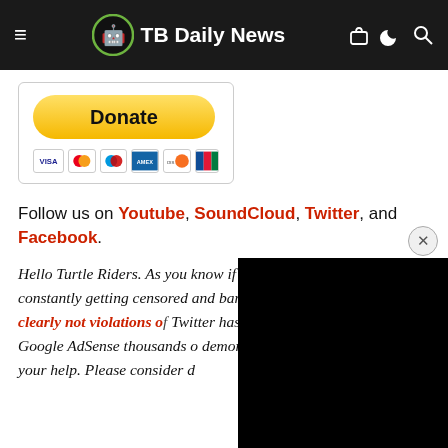TB Daily News
[Figure (other): PayPal Donate button with credit card icons (VISA, Mastercard, Maestro, AmEx, Discover, JCB)]
Follow us on Youtube, SoundCloud, Twitter, and Facebook.
Hello Turtle Riders. As you know if you follow Turtleboy we are constantly getting censored and banned by Facebook for what are clearly not violations o[f...] Twitter has done the same, and t[...] to Google AdSense thousands o[...] demonitization. We can get by a[...] use your help. Please consider d[...]